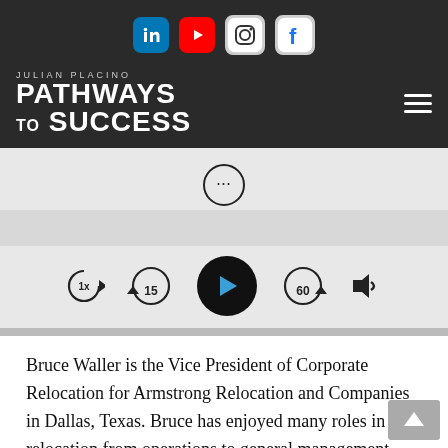[Figure (screenshot): Social media icons bar at top: LinkedIn, YouTube, Instagram, Facebook icons on dark background]
JULIAN PLACINO PATHWAYS TO SUCCESS
[Figure (screenshot): Audio podcast player UI with dots/menu button, skip back 15, play button, skip forward 60, and volume control on gray background]
Bruce Waller is the Vice President of Corporate Relocation for Armstrong Relocation and Companies in Dallas, Texas. Bruce has enjoyed many roles in relocation from operations to general management since 1995. Bruce is certified by